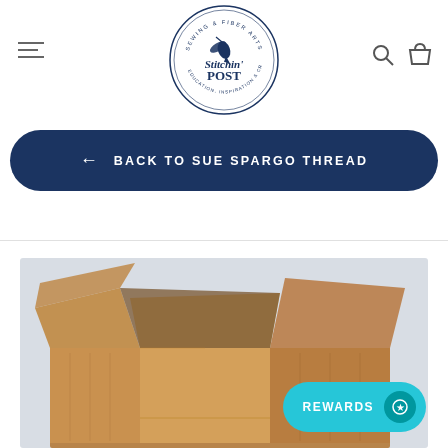[Figure (logo): Stitchin' Post circular logo with hummingbird — Sewing & Fiber Arts, Education, Inspiration & Creativity]
← BACK TO SUE SPARGO THREAD
[Figure (photo): Open cardboard shipping box on light background]
REWARDS